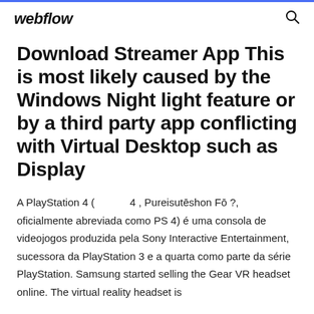webflow
Download Streamer App This is most likely caused by the Windows Night light feature or by a third party app conflicting with Virtual Desktop such as Display
A PlayStation 4 ( 4 , Pureisutēshon Fō ?, oficialmente abreviada como PS 4) é uma consola de videojogos produzida pela Sony Interactive Entertainment, sucessora da PlayStation 3 e a quarta como parte da série PlayStation. Samsung started selling the Gear VR headset online. The virtual reality headset is